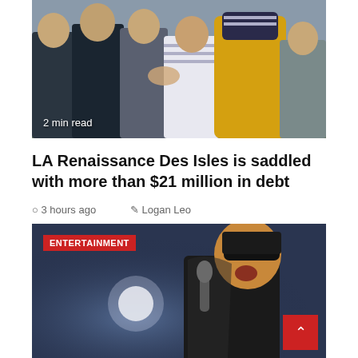[Figure (photo): Outdoor scene with group of people, someone in yellow raincoat, overcast sky. Badge reads '2 min read'.]
LA Renaissance Des Isles is saddled with more than $21 million in debt
3 hours ago   Logan Leo
[Figure (photo): Performer on stage wearing black outfit and sunglasses, holding microphone. ENTERTAINMENT badge in top left corner.]